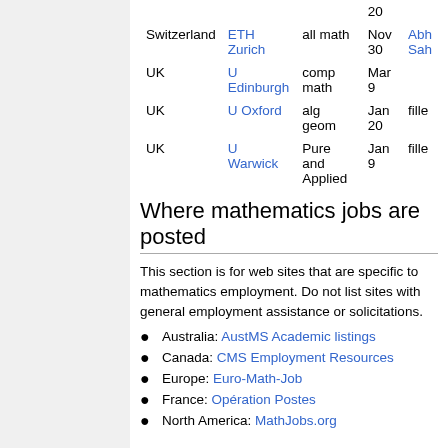| Country | Institution | Field | Deadline | Status |
| --- | --- | --- | --- | --- |
| Switzerland | ETH Zurich | all math | Nov 30 | Abh Sah... |
| UK | U Edinburgh | comp math | Mar 9 |  |
| UK | U Oxford | alg geom | Jan 20 | fille... |
| UK | U Warwick | Pure and Applied | Jan 9 | fille... |
Where mathematics jobs are posted
This section is for web sites that are specific to mathematics employment. Do not list sites with general employment assistance or solicitations.
Australia: AustMS Academic listings
Canada: CMS Employment Resources
Europe: Euro-Math-Job
France: Opération Postes
North America: MathJobs.org